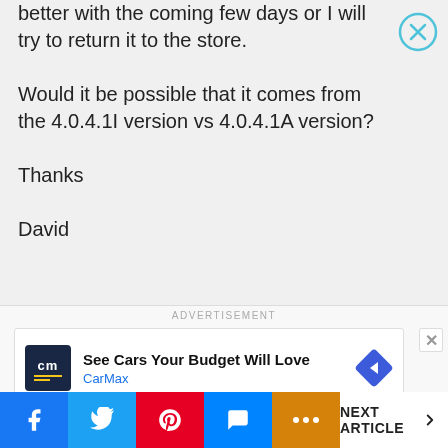better with the coming few days or I will try to return it to the store.

Would it be possible that it comes from the 4.0.4.1I version vs 4.0.4.1A version?

Thanks

David
[Figure (screenshot): Advertisement banner for CarMax: 'See Cars Your Budget Will Love' with CarMax logo and navigation arrow icon]
NEXT ARTICLE >